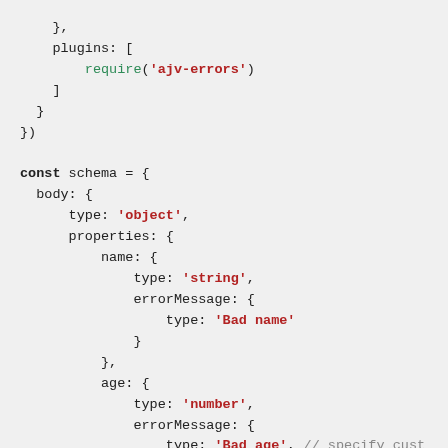Code snippet showing JavaScript configuration with plugins and schema definition including body, properties, name, age fields with errorMessage validation.